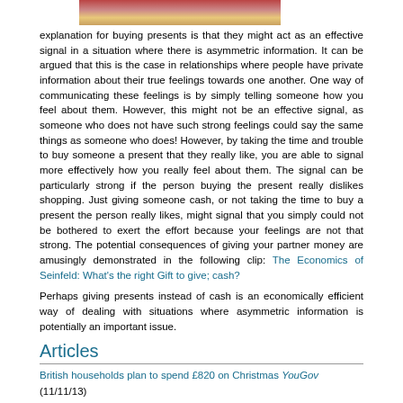[Figure (photo): Partial photo strip showing a gift/shopping scene, cropped at top]
explanation for buying presents is that they might act as an effective signal in a situation where there is asymmetric information. It can be argued that this is the case in relationships where people have private information about their true feelings towards one another. One way of communicating these feelings is by simply telling someone how you feel about them. However, this might not be an effective signal, as someone who does not have such strong feelings could say the same things as someone who does! However, by taking the time and trouble to buy someone a present that they really like, you are able to signal more effectively how you really feel about them. The signal can be particularly strong if the person buying the present really dislikes shopping. Just giving someone cash, or not taking the time to buy a present the person really likes, might signal that you simply could not be bothered to exert the effort because your feelings are not that strong. The potential consequences of giving your partner money are amusingly demonstrated in the following clip: The Economics of Seinfeld: What's the right Gift to give; cash?
Perhaps giving presents instead of cash is an economically efficient way of dealing with situations where asymmetric information is potentially an important issue.
Articles
British households plan to spend £820 on Christmas YouGov (11/11/13)
Brits 'to spend more on Christmas presents this year with average gift costing £28.70' Daily Mirror (13/11/13)
Christmas shoppers hit the sales in biggest spending spree since the